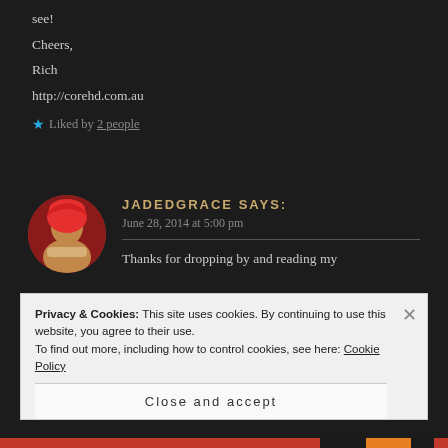see!
Cheers,
Rich
http://corehd.com.au
Liked by 2 people
JADEDGRACE says:
June 28, 2014 at 5:00 pm
Thanks for dropping by and reading my
Privacy & Cookies: This site uses cookies. By continuing to use this website, you agree to their use.
To find out more, including how to control cookies, see here: Cookie Policy
Close and accept